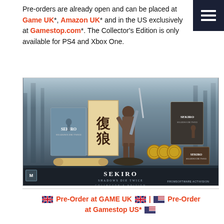Pre-orders are already open and can be placed at Game UK*, Amazon UK* and in the US exclusively at Gamestop.com*. The Collector's Edition is only available for PS4 and Xbox One.
[Figure (photo): Sekiro: Shadows Die Twice Collector's Edition product photo showing steelbook case, artbook, figure, coins, and game box. FromSoftware and Activision logos visible at bottom.]
🇬🇧 Pre-Order at GAME UK 🇬🇧 | 🇺🇸 Pre-Order at Gamestop US* 🇺🇸